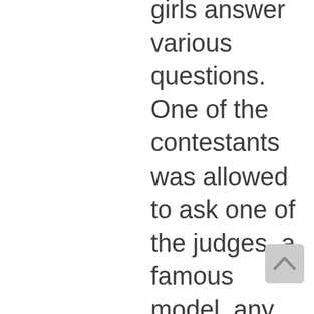girls answer various questions. One of the contestants was allowed to ask one of the judges, a famous model, any question she liked. She asked what she should do to improve her chances of succeeding as a professional model. The professional model's answer was that she should improve her Mandarin and her English! I was shocked. I don't know if it was just B.S. or if the model really believed it, but she said that language was extremely important in the industry for
[Figure (other): Scroll to top button - a light grey rounded rectangle with an upward-pointing chevron arrow]